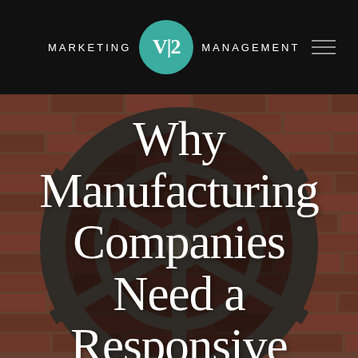MARKETING V|2 MANAGEMENT
[Figure (photo): Background photo of a metal industrial gear/wheel against a red brick wall, with large white serif text overlay reading 'Why Manufacturing Companies Need a Responsive']
Why Manufacturing Companies Need a Responsive